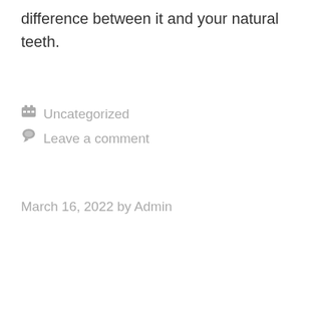difference between it and your natural teeth.
Uncategorized
Leave a comment
March 16, 2022 by Admin